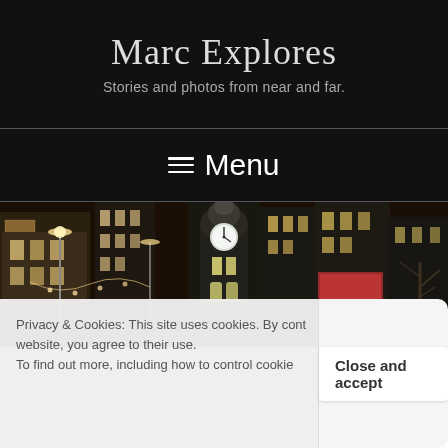Marc Explores
Stories and photos from near and far.
☰ Menu
[Figure (photo): Night-time cityscape photo of a city street with tall buildings, street lights, holiday decorations, and a clock tower visible in the background center.]
Privacy & Cookies: This site uses cookies. By continuing to use this website, you agree to their use.
To find out more, including how to control cookies,
Close and accept